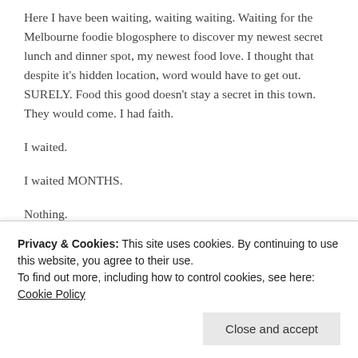Here I have been waiting, waiting waiting. Waiting for the Melbourne foodie blogosphere to discover my newest secret lunch and dinner spot, my newest food love. I thought that despite it's hidden location, word would have to get out. SURELY. Food this good doesn't stay a secret in this town. They would come. I had faith.
I waited.
I waited MONTHS.
Nothing.
I scrolled through all my favourite blogs. I looked at the trendsetter foodie blogs, run by folks with their noses to the ground and their
injustice MUST BE RECTIFIED.
Privacy & Cookies: This site uses cookies. By continuing to use this website, you agree to their use.
To find out more, including how to control cookies, see here: Cookie Policy